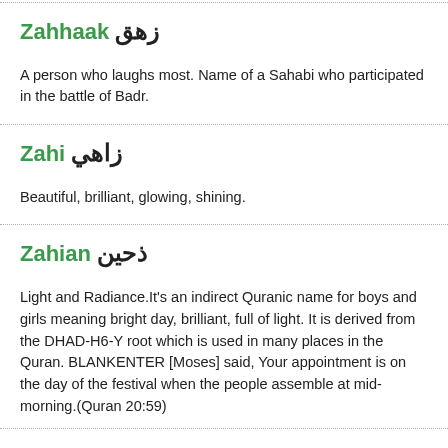Zahhaak زهق
A person who laughs most. Name of a Sahabi who participated in the battle of Badr.
Zahi زاهي
Beautiful, brilliant, glowing, shining.
Zahian ذحين
Light and Radiance.It's an indirect Quranic name for boys and girls meaning bright day, brilliant, full of light. It is derived from the DHAD-H6-Y root which is used in many places in the Quran. BLANKENTER [Moses] said, Your appointment is on the day of the festival when the people assemble at mid-morning.(Quran 20:59)